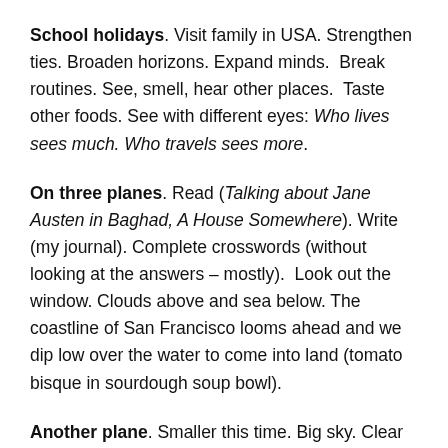School holidays. Visit family in USA. Strengthen ties. Broaden horizons. Expand minds. Break routines. See, smell, hear other places. Taste other foods. See with different eyes: Who lives sees much. Who travels sees more.
On three planes. Read (Talking about Jane Austen in Baghad, A House Somewhere). Write (my journal). Complete crosswords (without looking at the answers – mostly). Look out the window. Clouds above and sea below. The coastline of San Francisco looms ahead and we dip low over the water to come into land (tomato bisque in sourdough soup bowl).
Another plane. Smaller this time. Big sky. Clear views. Brown, orange and beige land lie below. Blue rivers slither across the dryness. Patchwork quilts of crops appear.